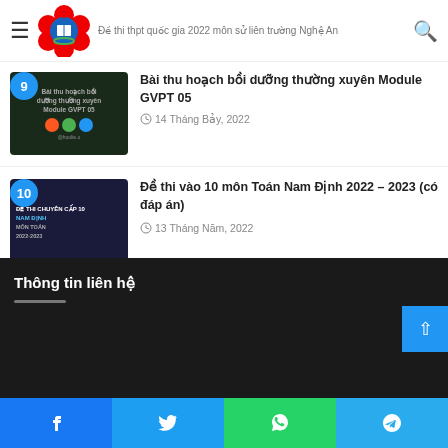Đề thi thpt quốc gia 2022 môn sử liên trường Nghệ An
[Figure (screenshot): Thumbnail for Bài thu hoạch bồi dưỡng thường xuyên Module GVPT 05 with dark background and colored icons]
Bài thu hoạch bồi dưỡng thường xuyên Module GVPT 05
14 Tháng Bảy, 2022
[Figure (screenshot): Thumbnail for Đề thi vào 10 môn Toán Nam Định 2022–2023 with dark blue background and student illustration]
Đề thi vào 10 môn Toán Nam Định 2022 – 2023 (có đáp án)
13 Tháng Năm, 2022
Thông tin liên hệ
Facebook | Twitter | WhatsApp | Telegram